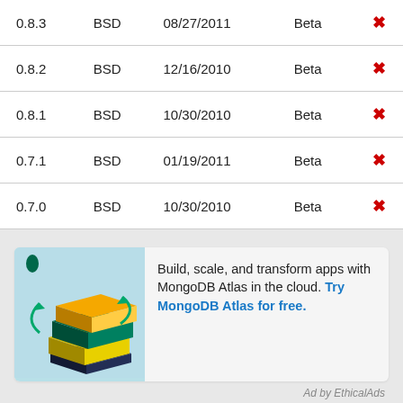| Version | License | Released | Status |  |
| --- | --- | --- | --- | --- |
| 0.8.3 | BSD | 08/27/2011 | Beta | ✗ |
| 0.8.2 | BSD | 12/16/2010 | Beta | ✗ |
| 0.8.1 | BSD | 10/30/2010 | Beta | ✗ |
| 0.7.1 | BSD | 01/19/2011 | Beta | ✗ |
| 0.7.0 | BSD | 10/30/2010 | Beta | ✗ |
[Figure (illustration): MongoDB advertisement showing stacked colorful 3D blocks (MongoDB Atlas logo graphic) with text: Build, scale, and transform apps with MongoDB Atlas in the cloud. Try MongoDB Atlas for free.]
Ad by EthicalAds
Documentation